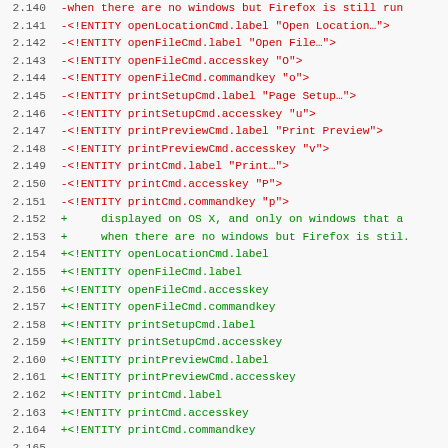[Figure (screenshot): Diff view of code showing removed lines (red) and added lines (green) with line numbers 2.140 through 2.171, showing XML entity definitions for Firefox browser UI strings.]